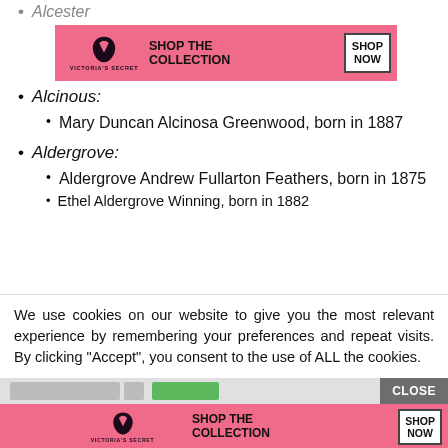Alcester
[Figure (other): Victoria's Secret advertisement banner (pink background) with logo, 'SHOP THE COLLECTION' text, and 'SHOP NOW' button]
Alcinous:
Mary Duncan Alcinosa Greenwood, born in 1887
Aldergrove:
Aldergrove Andrew Fullarton Feathers, born in 1875
Ethel Aldergrove Winning, born in 1882
We use cookies on our website to give you the most relevant experience by remembering your preferences and repeat visits. By clicking “Accept”, you consent to the use of ALL the cookies.
Do not sell my personal information.
[Figure (other): Victoria's Secret advertisement banner (pink background) at bottom with logo, 'SHOP THE COLLECTION' text, and 'SHOP NOW' button, with a CLOSE button overlay]